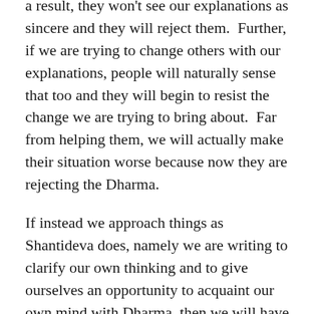a result, they won't see our explanations as sincere and they will reject them.  Further, if we are trying to change others with our explanations, people will naturally sense that too and they will begin to resist the change we are trying to bring about.  Far from helping them, we will actually make their situation worse because now they are rejecting the Dharma.
If instead we approach things as Shantideva does, namely we are writing to clarify our own thinking and to give ourselves an opportunity to acquaint our own mind with Dharma, then we will have complete equanimity whether others like our